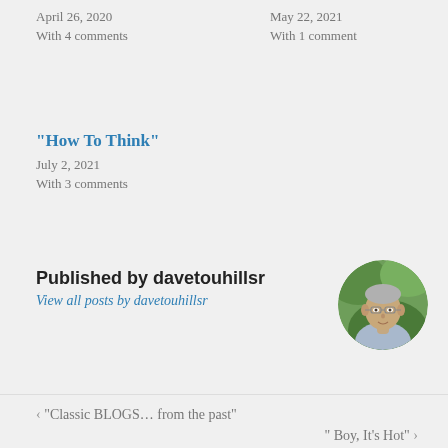April 26, 2020
With 4 comments
May 22, 2021
With 1 comment
“How To Think”
July 2, 2021
With 3 comments
Published by davetouhillsr
View all posts by davetouhillsr
[Figure (photo): Circular avatar photo of a man with glasses wearing a light blue shirt, outdoors with green foliage background]
‹ “Classic BLOGS… from the past”
“ Boy, It’s Hot” ›